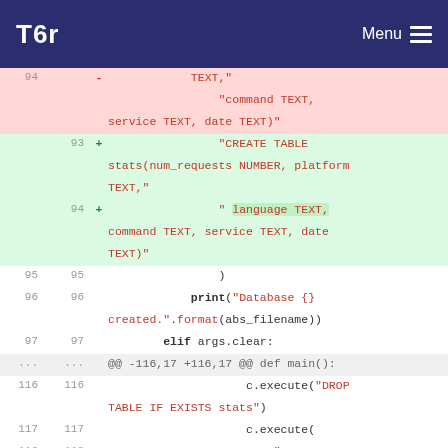Tor — Menu
Code diff showing changes to SQL CREATE TABLE stats query, adding 'language TEXT,' field. Lines 93-118 shown.